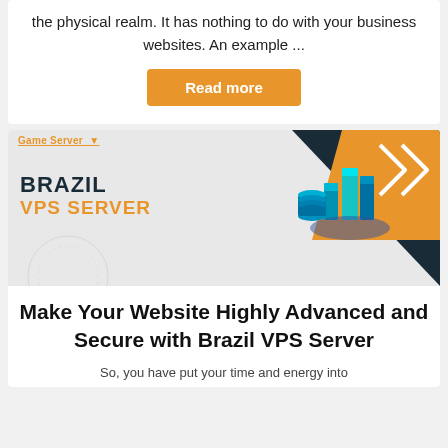the physical realm. It has nothing to do with your business websites. An example ...
Read more
[Figure (illustration): Brazil VPS Server promotional banner with isometric server/city illustration, dark navy and orange geometric background]
Make Your Website Highly Advanced and Secure with Brazil VPS Server
So, you have put your time and energy into